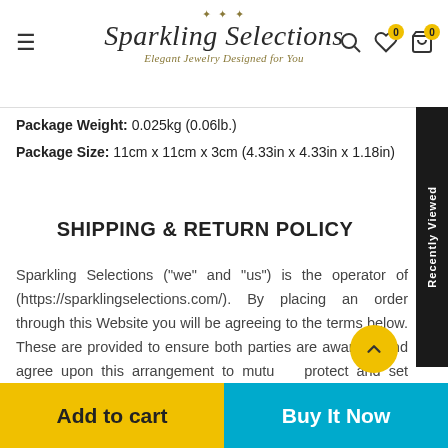[Figure (logo): Sparkling Selections logo with ornamental design, script text reading 'Sparkling Selections' and subtitle 'Elegant Jewelry Designed for You']
Package Weight: 0.025kg (0.06lb.)
Package Size: 11cm x 11cm x 3cm (4.33in x 4.33in x 1.18in)
SHIPPING & RETURN POLICY
Sparkling Selections ("we" and "us") is the operator of (https://sparklingselections.com/). By placing an order through this Website you will be agreeing to the terms below. These are provided to ensure both parties are aware of and agree upon this arrangement to mutually protect and set expectations on our service.